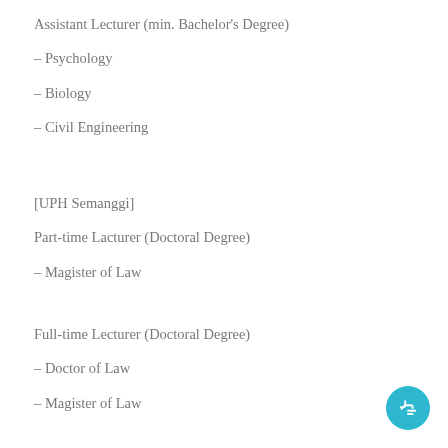Assistant Lecturer (min. Bachelor's Degree)
– Psychology
– Biology
– Civil Engineering
[UPH Semanggi]
Part-time Lacturer (Doctoral Degree)
– Magister of Law
Full-time Lecturer (Doctoral Degree)
– Doctor of Law
– Magister of Law